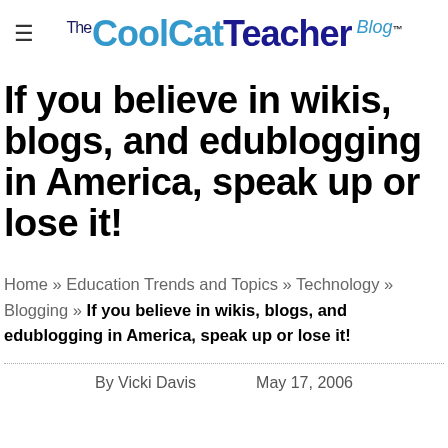The CoolCatTeacher Blog
If you believe in wikis, blogs, and edublogging in America, speak up or lose it!
Home » Education Trends and Topics » Technology » Blogging » If you believe in wikis, blogs, and edublogging in America, speak up or lose it!
By Vicki Davis   May 17, 2006